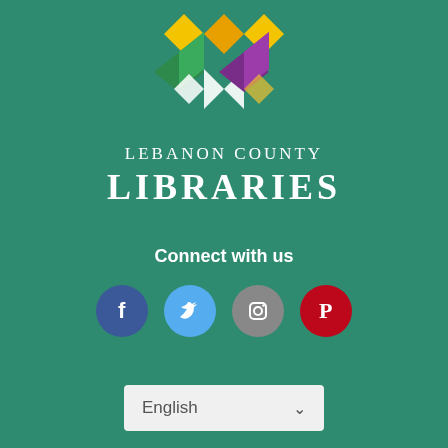[Figure (logo): Lebanon County Libraries geometric logo with colorful diamond/book shapes in yellow, green, purple, and white]
LEBANON COUNTY LIBRARIES
Connect with us
[Figure (infographic): Social media icons: Facebook (blue circle with f), Twitter (light blue circle with bird), Instagram (grey circle with camera), Pinterest (red circle with P)]
English